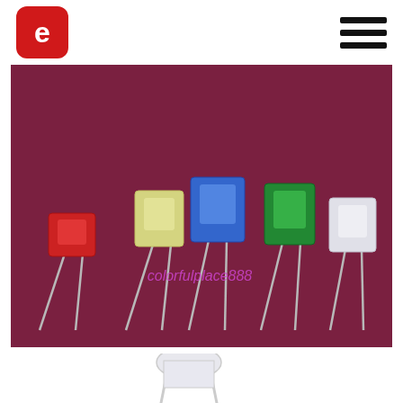[Figure (logo): Red rounded square logo with white 'e' or plug icon inside]
[Figure (other): Hamburger menu icon (three horizontal black bars)]
[Figure (photo): Photo of five rectangular LED components on a dark red/maroon background: red, yellow, blue, green, and white/clear LEDs with metal leads spreading out. Watermark text 'colorfulplace888' in magenta/purple in the center.]
[Figure (photo): Partial photo of a single clear/white round LED component with metal leads on white background, cropped at bottom of page.]